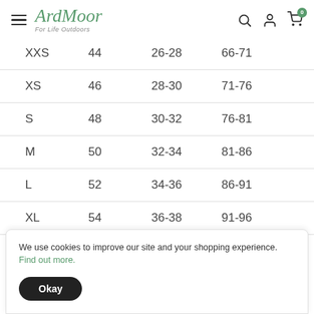ArdMoor - For Life Outdoors (navigation header with hamburger menu, logo, search, account, cart icons)
| XXS | 44 | 26-28 | 66-71 |
| XS | 46 | 28-30 | 71-76 |
| S | 48 | 30-32 | 76-81 |
| M | 50 | 32-34 | 81-86 |
| L | 52 | 34-36 | 86-91 |
| XL | 54 | 36-38 | 91-96 |
We use cookies to improve our site and your shopping experience. Find out more.
Okay